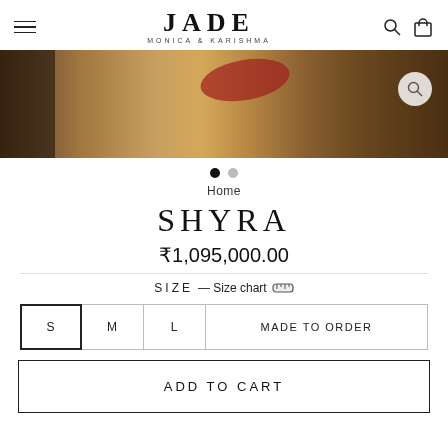JADE MONICA & KARISHMA
[Figure (photo): Product image — fashion garment with earthy and red tones, partially visible on image carousel]
Home
SHYRA
₹1,095,000.00
SIZE — Size chart
S  M  L  MADE TO ORDER
ADD TO CART